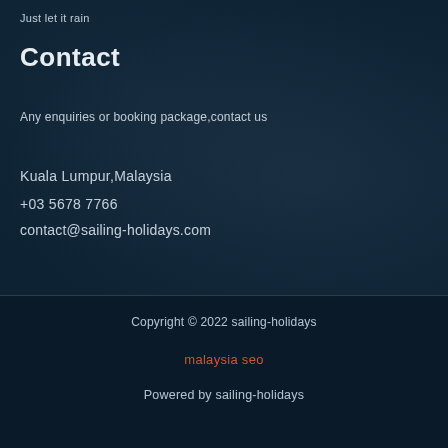Just let it rain
Contact
Any enquiries or booking package,contact us
Kuala Lumpur,Malaysia
+03 5678 7766
contact@sailing-holidays.com
Copyright © 2022 sailing-holidays
malaysia seo
Powered by sailing-holidays